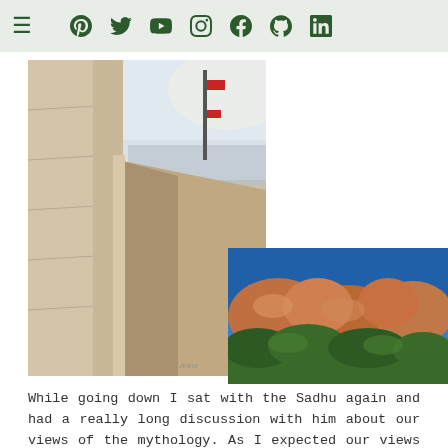Navigation bar with hamburger menu and social icons: Pinterest, Twitter, YouTube, Instagram, Facebook, GitHub, LinkedIn
[Figure (photo): Left: Tall vertical photo of a whitewashed stone walkway/corridor along the edge of a hilltop temple or fort, with a flagpole and city view in the background under a hazy sky.]
[Figure (photo): Right bottom: Photo of large orange granite boulders against a vivid blue sky with green tree foliage below.]
While going down I sat with the Sadhu again and had a really long discussion with him about our views of the mythology. As I expected our views did not match with